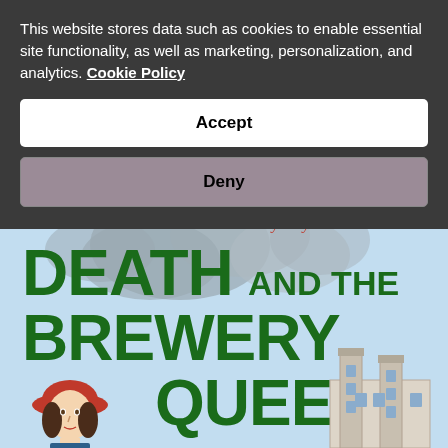This website stores data such as cookies to enable essential site functionality, as well as marketing, personalization, and analytics. Cookie Policy
Accept
Deny
[Figure (illustration): Book cover for 'Death and the Brewery Queen', a Kate Shackleton mystery. Light blue sky background with grey smoke clouds. Large bold dark green title text. A woman in a red hat illustrated in lower left, a brewery building in lower right.]